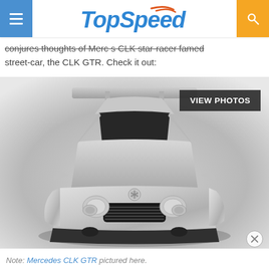TopSpeed
conjures thoughts of Mercedes's star-crossed, famed street-car, the CLK GTR. Check it out:
[Figure (photo): Front view of a silver Mercedes CLK GTR supercar in a studio setting, shot from slightly elevated angle showing the front fascia, hood, windshield and large rear wing. A 'VIEW PHOTOS' button overlay appears in the upper right of the image.]
Note: Mercedes CLK GTR pictured here.